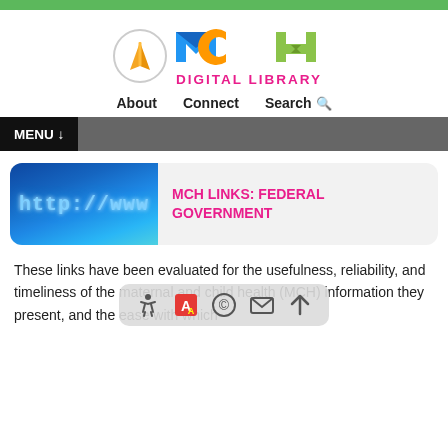[Figure (logo): MCH Digital Library logo with book icon in circle and colorful MCH letters]
About    Connect    Search
MENU ↓
[Figure (photo): Blue LED screen showing http://www text]
MCH LINKS: FEDERAL GOVERNMENT
These links have been evaluated for the usefulness, reliability, and timeliness of the maternal and child health (MCH) information they present, and the ease with which